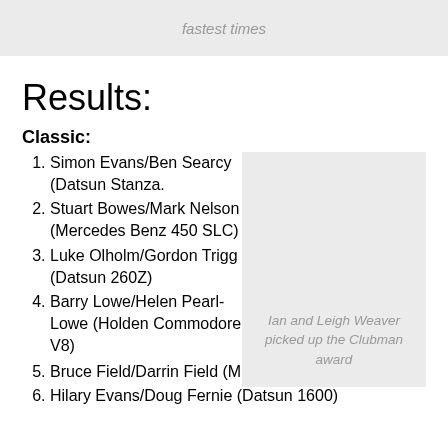fastest times
Results:
Classic:
Simon Evans/Ben Searcy (Datsun Stanza.
Stuart Bowes/Mark Nelson (Mercedes Benz 450 SLC)
Luke Olholm/Gordon Trigg (Datsun 260Z)
Barry Lowe/Helen Pearl-Lowe (Holden Commodore V8)
[Figure (photo): Photo placeholder — Ian and Leigh Weaver picked up the Clubman award]
Ian and Leigh Weaver picked up the Clubman award
Bruce Field/Darrin Field (Mercedes Benz 280S)
Hilary Evans/Doug Fernie (Datsun 1600)